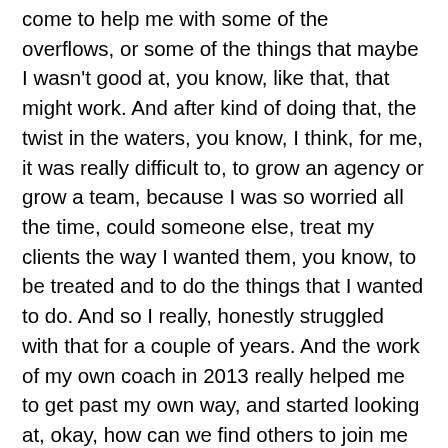come to help me with some of the overflows, or some of the things that maybe I wasn't good at, you know, like that, that might work. And after kind of doing that, the twist in the waters, you know, I think, for me, it was really difficult to, to grow an agency or grow a team, because I was so worried all the time, could someone else, treat my clients the way I wanted them, you know, to be treated and to do the things that I wanted to do. And so I really, honestly struggled with that for a couple of years. And the work of my own coach in 2013 really helped me to get past my own way, and started looking at, okay, how can we find others to join me that have that same work ethic that has that same? You know, the work-life balance that, you know, they want to contribute, you know, to their family, but you know, have these great, amazing skills? And how could I bring them onto our team, where they're